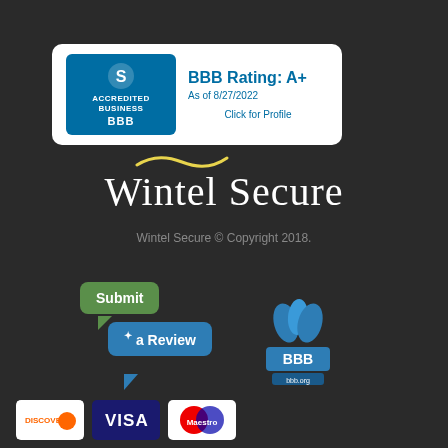[Figure (logo): BBB Accredited Business badge showing BBB Rating A+ as of 8/27/2022 with Click for Profile link]
[Figure (logo): Wintel Secure company logo with yellow tilde accent and white text on dark background]
Wintel Secure © Copyright 2018.
[Figure (logo): Submit a Review button with chat bubbles graphic alongside BBB logo for bbb.org]
[Figure (logo): Payment card logos: Discover, Visa, Maestro]